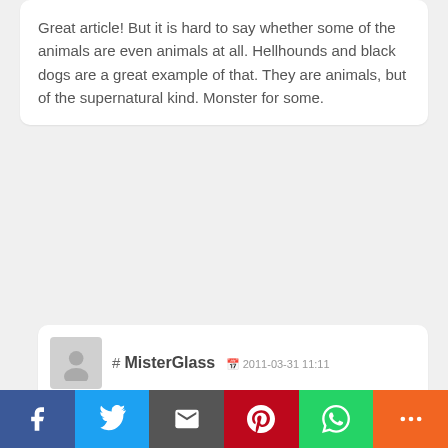Great article! But it is hard to say whether some of the animals are even animals at all. Hellhounds and black dogs are a great example of that. They are animals, but of the supernatural kind. Monster for some.
# MisterGlass 2011-03-31 11:11 It was a cute dog! You're right, it is a fine and blurry line between monster and animal.
# Jasminka 2011-03-31 12:27 Hi Mister Glass, this was indeed an interesting and entertaining read. I often feel sorry for the animals (or other creatures) in this show, the poor rabbits that 'get screwed in the deal' or the misunterstood supernatural ones...(though not being fond of the baddies, the